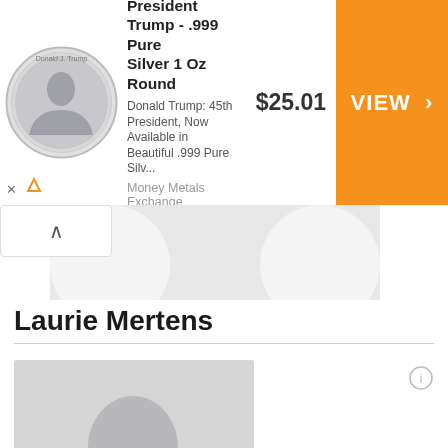[Figure (other): Advertisement banner for President Trump .999 Pure Silver 1 Oz Round coin from Money Metals Exchange, priced at $25.01 with an orange VIEW button]
[Figure (photo): Generic gray silhouette placeholder avatar image for Laurie Mertens profile]
Laurie Mertens
[Figure (photo): Generic gray silhouette placeholder avatar image for second Laurie Mertens profile]
Laurie Mertens